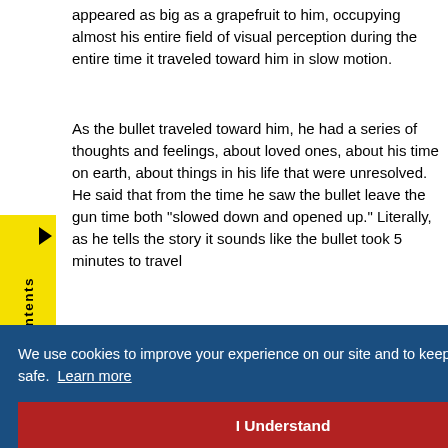appeared as big as a grapefruit to him, occupying almost his entire field of visual perception during the entire time it traveled toward him in slow motion.
As the bullet traveled toward him, he had a series of thoughts and feelings, about loved ones, about his time on earth, about things in his life that were unresolved. He said that from the time he saw the bullet leave the gun time both "slowed down and opened up." Literally, as he tells the story it sounds like the bullet took 5 minutes to travel and ...auma ...ook an ...we are ...notional It is up
We use cookies to improve your experience on our site and to keep you and our systems safe. Learn more
I Understand